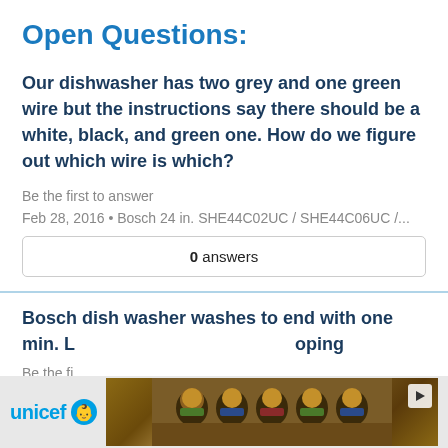Open Questions:
Our dishwasher has two grey and one green wire but the instructions say there should be a white, black, and green one. How do we figure out which wire is which?
Be the first to answer
Feb 28, 2016 • Bosch 24 in. SHE44C02UC / SHE44C06UC /...
0 answers
Bosch dish washer washes to end with one min. L... ...oping
Be the fi...
[Figure (photo): UNICEF advertisement banner with logo and photo of children]